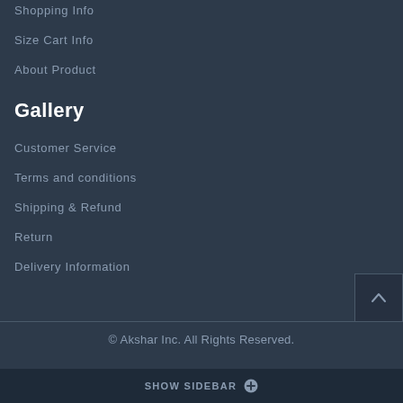Shopping Info
Size Cart Info
About Product
Gallery
Customer Service
Terms and conditions
Shipping & Refund
Return
Delivery Information
© Akshar Inc. All Rights Reserved.
SHOW SIDEBAR